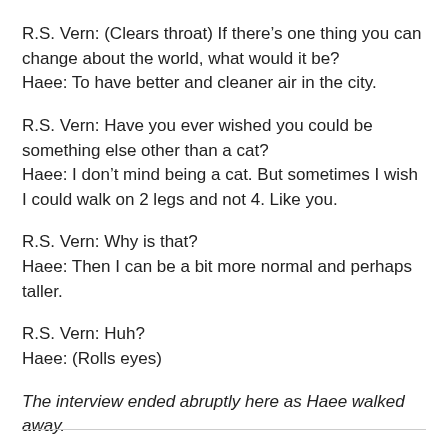R.S. Vern: (Clears throat) If there's one thing you can change about the world, what would it be?
Haee: To have better and cleaner air in the city.
R.S. Vern: Have you ever wished you could be something else other than a cat?
Haee: I don't mind being a cat. But sometimes I wish I could walk on 2 legs and not 4. Like you.
R.S. Vern: Why is that?
Haee: Then I can be a bit more normal and perhaps taller.
R.S. Vern: Huh?
Haee: (Rolls eyes)
The interview ended abruptly here as Haee walked away.